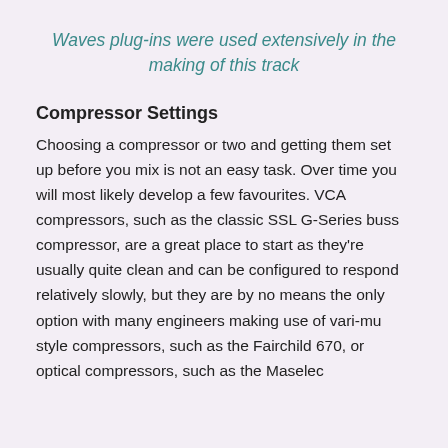Waves plug-ins were used extensively in the making of this track
Compressor Settings
Choosing a compressor or two and getting them set up before you mix is not an easy task. Over time you will most likely develop a few favourites. VCA compressors, such as the classic SSL G-Series buss compressor, are a great place to start as they're usually quite clean and can be configured to respond relatively slowly, but they are by no means the only option with many engineers making use of vari-mu style compressors, such as the Fairchild 670, or optical compressors, such as the Maselec